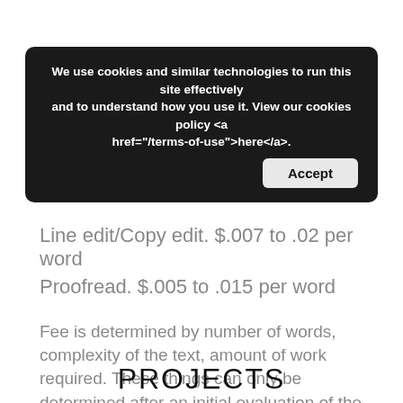We use cookies and similar technologies to run this site effectively and to understand how you use it. View our cookies policy <a href="/terms-of-use">here</a>.
Developmental editing. $.02 to ...
Line edit/Copy edit. $.007 to .02 per word
Proofread. $.005 to .015 per word
Fee is determined by number of words, complexity of the text, amount of work required. These things can only be determined after an initial evaluation of the manuscript. Evaluations are $50, which will be deducted from the final invoice and come with basic advice and areas of concern.
PROJECTS